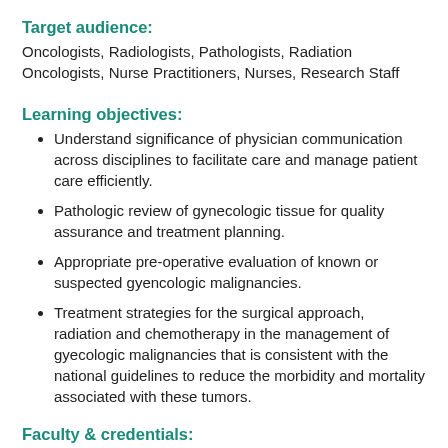Target audience:
Oncologists, Radiologists, Pathologists, Radiation Oncologists, Nurse Practitioners, Nurses, Research Staff
Learning objectives:
Understand significance of physician communication across disciplines to facilitate care and manage patient care efficiently.
Pathologic review of gynecologic tissue for quality assurance and treatment planning.
Appropriate pre-operative evaluation of known or suspected gyencologic malignancies.
Treatment strategies for the surgical approach, radiation and chemotherapy in the management of gyecologic malignancies that is consistent with the national guidelines to reduce the morbidity and mortality associated with these tumors.
Faculty & credentials: